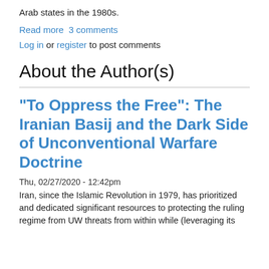Arab states in the 1980s.
Read more  3 comments
Log in or register to post comments
About the Author(s)
“To Oppress the Free”: The Iranian Basij and the Dark Side of Unconventional Warfare Doctrine
Thu, 02/27/2020 - 12:42pm
Iran, since the Islamic Revolution in 1979, has prioritized and dedicated significant resources to protecting the ruling regime from UW threats from within while (leveraging its